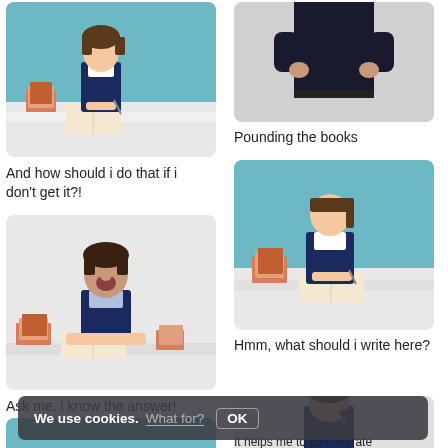[Figure (photo): Girl in school uniform sitting at desk with stack of books, studying]
[Figure (photo): Teacher in dark pants with arms crossed, cropped torso view]
Pounding the books
And how should i do that if i don't get it?!
[Figure (photo): Boy in school uniform yawning at desk with books]
[Figure (photo): Girl in school uniform sitting at desk writing with books]
Hmm, what should i write here?
Ask me, i know the answer!
[Figure (photo): Girl hiding or peeking with books on teal background]
[Figure (photo): Boy with microphone headset at desk]
It helps me to concentrate
We use cookies. What for? OK